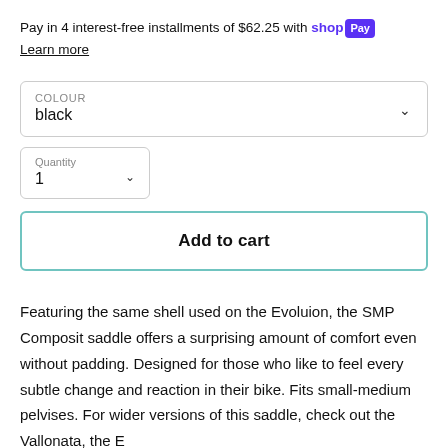Pay in 4 interest-free installments of $62.25 with shop Pay
Learn more
COLOUR
black
Quantity
1
Add to cart
Featuring the same shell used on the Evoluion, the SMP Composit saddle offers a surprising amount of comfort even without padding. Designed for those who like to feel every subtle change and reaction in their bike. Fits small-medium pelvises. For wider versions of this saddle, check out the Vallonata, the E...